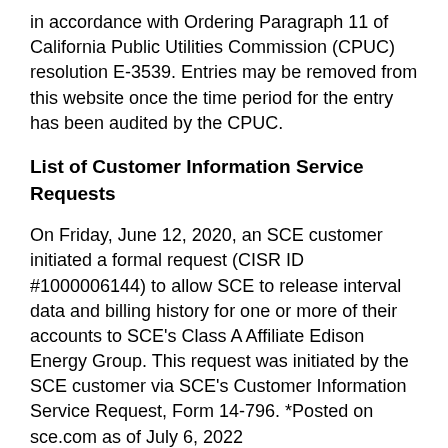in accordance with Ordering Paragraph 11 of California Public Utilities Commission (CPUC) resolution E-3539. Entries may be removed from this website once the time period for the entry has been audited by the CPUC.
List of Customer Information Service Requests
On Friday, June 12, 2020, an SCE customer initiated a formal request (CISR ID #1000006144) to allow SCE to release interval data and billing history for one or more of their accounts to SCE's Class A Affiliate Edison Energy Group. This request was initiated by the SCE customer via SCE's Customer Information Service Request, Form 14-796. *Posted on sce.com as of July 6, 2022
On Friday, June 12, 2020, an SCE customer initiated a formal request (CISR ID #1000019701) to allow SCE to release interval data and billing history for one or more of their accounts to SCE's Class A Affiliate Edison Energy LLC. This request was initiated by the SCE customer via